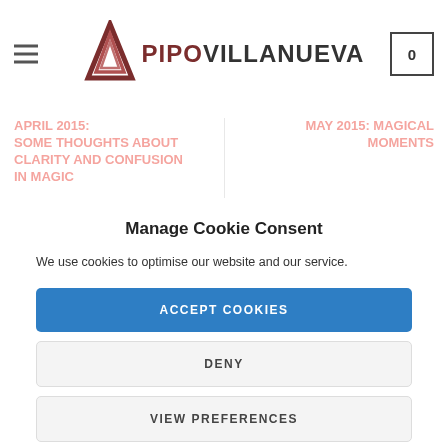PIPOVILLANUEVA — navigation header with logo, hamburger menu, and cart icon showing 0
APRIL 2015: SOME THOUGHTS ABOUT CLARITY AND CONFUSION IN MAGIC
MAY 2015: MAGICAL MOMENTS
Manage Cookie Consent
We use cookies to optimise our website and our service.
ACCEPT COOKIES
DENY
VIEW PREFERENCES